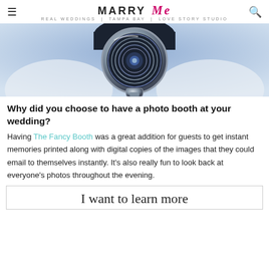MARRY Me Tampa Bay
[Figure (photo): Close-up photo of a photo booth camera lens from above, showing a round metallic lens with a chrome stand against a blurred blue background]
Why did you choose to have a photo booth at your wedding?
Having The Fancy Booth was a great addition for guests to get instant memories printed along with digital copies of the images that they could email to themselves instantly. It's also really fun to look back at everyone's photos throughout the evening.
I want to learn more